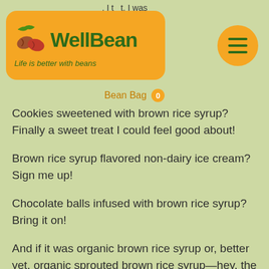[Figure (logo): WellBean logo with orange rounded rectangle background, two coffee bean icons, green text 'WellBean', tagline 'Life is better with beans']
Bean Bag  0
Cookies sweetened with brown rice syrup? Finally a sweet treat I could feel good about!
Brown rice syrup flavored non-dairy ice cream? Sign me up!
Chocolate balls infused with brown rice syrup? Bring it on!
And if it was organic brown rice syrup or, better yet, organic sprouted brown rice syrup—hey, the more feel-good adjectives propping up my sweetener, the better I felt about eating it!